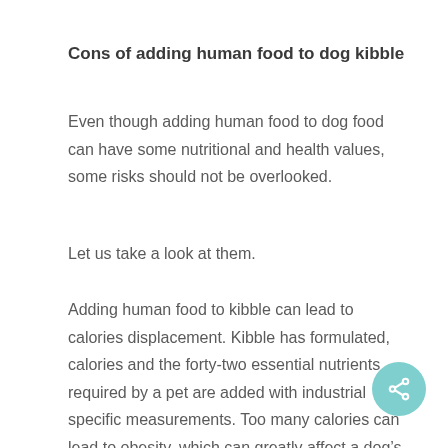Cons of adding human food to dog kibble
Even though adding human food to dog food can have some nutritional and health values, some risks should not be overlooked.
Let us take a look at them.
Adding human food to kibble can lead to calories displacement. Kibble has formulated, calories and the forty-two essential nutrients required by a pet are added with industrial specific measurements. Too many calories can lead to obesity, which can greatly affect a dog’s health.